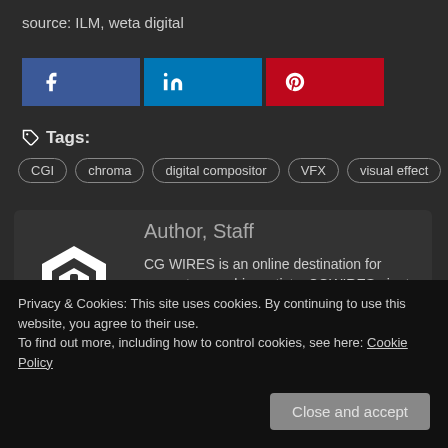source: ILM, weta digital
[Figure (other): Social share buttons: Facebook (blue), LinkedIn (light blue), Pinterest (red)]
Tags:
CGI
chroma
digital compositor
VFX
visual effect
Author, Staff
CG WIRES is an online destination for computer graphics artists. CGWIRES aim to serve entertainment production industry with News, Features and
Privacy & Cookies: This site uses cookies. By continuing to use this website, you agree to their use.
To find out more, including how to control cookies, see here: Cookie Policy